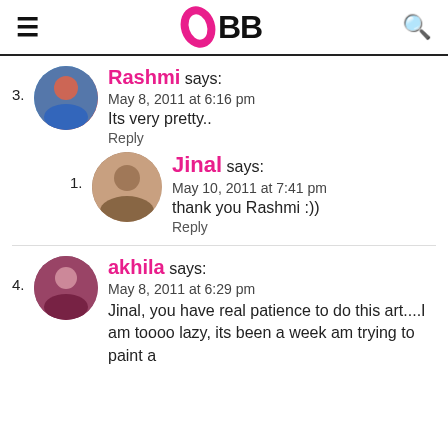IMBB
3. Rashmi says: May 8, 2011 at 6:16 pm — Its very pretty.. Reply
1. Jinal says: May 10, 2011 at 7:41 pm — thank you Rashmi :)) Reply
4. akhila says: May 8, 2011 at 6:29 pm — Jinal, you have real patience to do this art....I am toooo lazy, its been a week am trying to paint a